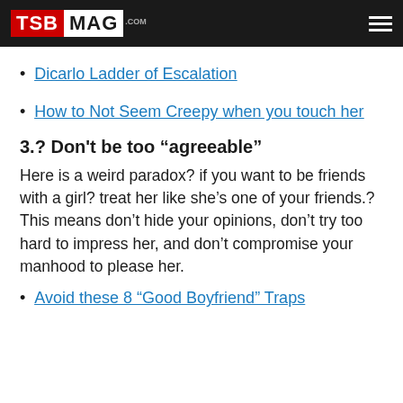TSB MAG .com
Dicarlo Ladder of Escalation
How to Not Seem Creepy when you touch her
3.? Don’t be too “agreeable”
Here is a weird paradox? if you want to be friends with a girl? treat her like she’s one of your friends.? This means don’t hide your opinions, don’t try too hard to impress her, and don’t compromise your manhood to please her.
Avoid these 8 “Good Boyfriend” Traps